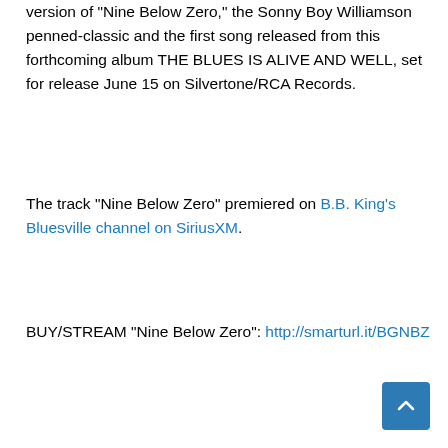version of “Nine Below Zero,” the Sonny Boy Williamson penned-classic and the first song released from this forthcoming album THE BLUES IS ALIVE AND WELL, set for release June 15 on Silvertone/RCA Records.
The track “Nine Below Zero” premiered on B.B. King’s Bluesville channel on SiriusXM.
BUY/STREAM “Nine Below Zero”: http://smarturl.it/BGNBZ